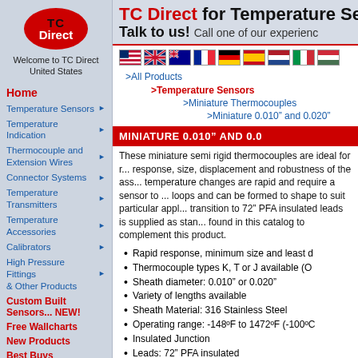[Figure (logo): TC Direct red oval logo with TC in black and Direct in white text]
Welcome to TC Direct
United States
Home
Temperature Sensors
Temperature Indication
Thermocouple and Extension Wires
Connector Systems
Temperature Transmitters
Temperature Accessories
Calibrators
High Pressure Fittings & Other Products
Custom Built Sensors... NEW!
Free Wallcharts
New Products
Best Buys
Contact Us
About Us
Buyers Info
TC Direct for Temperature Se...
Talk to us! Call one of our experienc...
[Figure (other): Row of country flag icons: US, UK, Australia, France, Germany, Spain, Netherlands, Italy, Hungary]
>All Products
>Temperature Sensors
>Miniature Thermocouples
>Miniature 0.010" and 0.020"
MINIATURE 0.010" AND 0.0...
These miniature semi rigid thermocouples are ideal for r... response, size, displacement and robustness of the ass... temperature changes are rapid and require a sensor to ... loops and can be formed to shape to suit particular appl... transition to 72" PFA insulated leads is supplied as stan... found in this catalog to complement this product.
Rapid response, minimum size and least d...
Thermocouple types K, T or J available (O...
Sheath diameter: 0.010" or 0.020"
Variety of lengths available
Sheath Material: 316 Stainless Steel
Operating range: -148ºF to 1472ºF (-100ºC...
Insulated Junction
Leads: 72" PFA insulated
Terminated in a potting adaptor rated to 18...